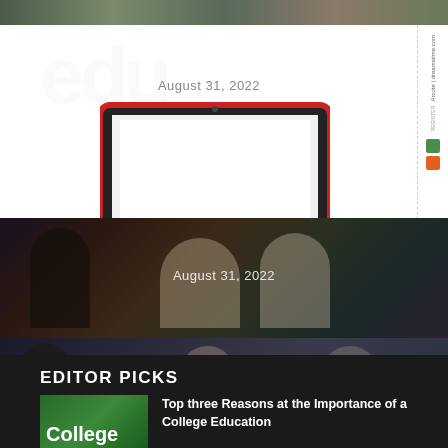[Figure (photo): Partial photo strip at top of page showing people in educational setting]
August 31, 2022
[Figure (photo): Tablet/e-reader device with red border shown in white area]
[Figure (photo): Science classroom photo showing student with glasses examining red object]
August 31, 2022
[Figure (photo): Group of students in modern educational environment]
August 31, 2022
EDITOR PICKS
[Figure (photo): Green College direction sign]
Top three Reasons at the Importance of a College Education